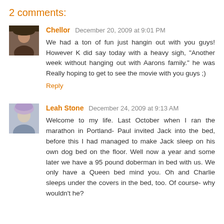2 comments:
Chellor December 20, 2009 at 9:01 PM
We had a ton of fun just hangin out with you guys! However K did say today with a heavy sigh, "Another week without hanging out with Aarons family." he was Really hoping to get to see the movie with you guys ;)
Reply
Leah Stone December 24, 2009 at 9:13 AM
Welcome to my life. Last October when I ran the marathon in Portland- Paul invited Jack into the bed, before this I had managed to make Jack sleep on his own dog bed on the floor. Well now a year and some later we have a 95 pound doberman in bed with us. We only have a Queen bed mind you. Oh and Charlie sleeps under the covers in the bed, too. Of course- why wouldn't he?